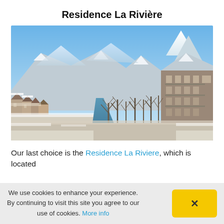Residence La Rivière
[Figure (photo): Winter alpine village scene with a river running through the center, snow-covered rooftops and mountains in the background, bare trees lining the riverbank, blue sky above — Chamonix, France]
Our last choice is the Residence La Riviere, which is located
We use cookies to enhance your experience. By continuing to visit this site you agree to our use of cookies. More info